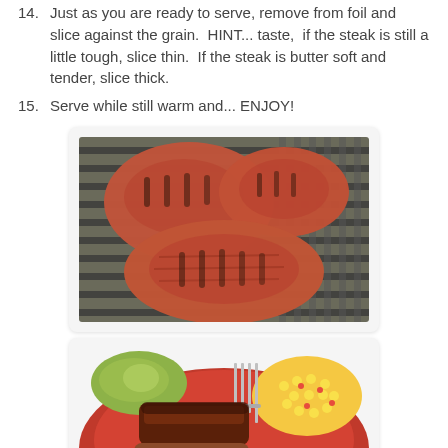14. Just as you are ready to serve, remove from foil and slice against the grain.  HINT... taste,  if the steak is still a little tough, slice thin.  If the steak is butter soft and tender, slice thick.
15. Serve while still warm and... ENJOY!
[Figure (photo): Grilled steaks on a grill grate, showing char marks and reddish-brown meat, viewed from above.]
[Figure (photo): Sliced steak with BBQ sauce served on a red plate with guacamole and corn salsa sides, with a fork visible.]